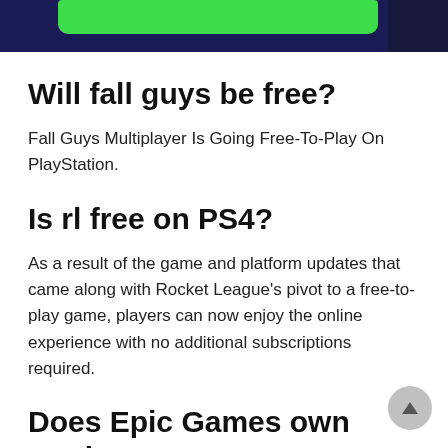[Figure (screenshot): Dark navy banner with green rounded label element at top of page]
Will fall guys be free?
Fall Guys Multiplayer Is Going Free-To-Play On PlayStation.
Is rl free on PS4?
As a result of the game and platform updates that came along with Rocket League's pivot to a free-to-play game, players can now enjoy the online experience with no additional subscriptions required.
Does Epic Games own Rocket League?